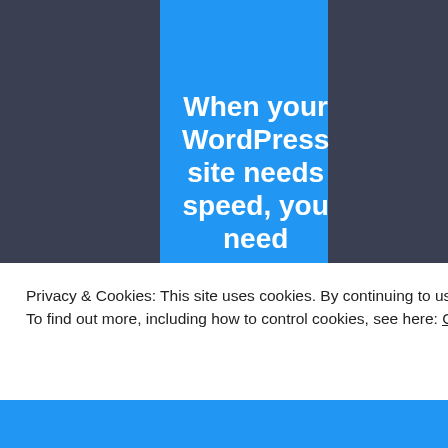[Figure (infographic): Pressable WordPress hosting advertisement banner on dark blue-grey background. Blue vertical strip in center with white bold text 'When your WordPress site needs speed, you need' and Pressable logo below, with a teal horizontal line.]
Privacy & Cookies: This site uses cookies. By continuing to use this website, you agree to their use.
To find out more, including how to control cookies, see here: Cookie Policy
Close and accept